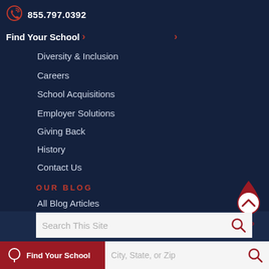855.797.0392
Find Your School >
Diversity & Inclusion
Careers
School Acquisitions
Employer Solutions
Giving Back
History
Contact Us
OUR BLOG
All Blog Articles
Search This Site
TOP
Find Your School
City, State, or Zip